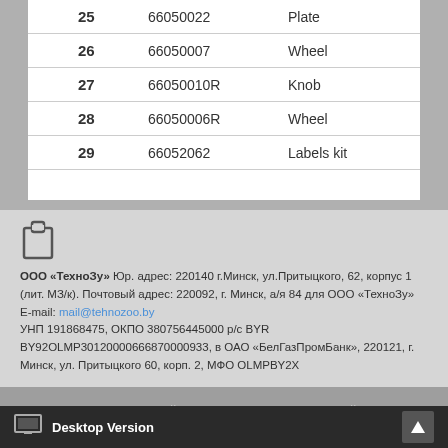| # | Part Number | Description |
| --- | --- | --- |
| 25 | 66050022 | Plate |
| 26 | 66050007 | Wheel |
| 27 | 66050010R | Knob |
| 28 | 66050006R | Wheel |
| 29 | 66052062 | Labels kit |
ООО «ТехноЗу» Юр. адрес: 220140 г.Минск, ул.Притыцкого, 62, корпус 1 (лит. МЗ/к). Почтовый адрес: 220092, г. Минск, а/я 84 для ООО «ТехноЗу» E-mail: mail@tehnozoo.by УНП 191868475, ОКПО 380756445000 р/с BYR BY92OLMP30120000666870000933, в ОАО «БелГазПромБанк», 220121, г. Минск, ул. Притыцкого 60, корп. 2, МФО OLMPBY2X
Copyright © 2022. Сервисный Центр ТехноЗу - Ремонт садовой техники и электроинструмента.
Desktop Version